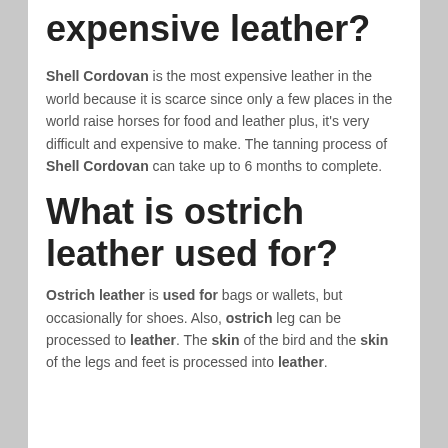expensive leather?
Shell Cordovan is the most expensive leather in the world because it is scarce since only a few places in the world raise horses for food and leather plus, it's very difficult and expensive to make. The tanning process of Shell Cordovan can take up to 6 months to complete.
What is ostrich leather used for?
Ostrich leather is used for bags or wallets, but occasionally for shoes. Also, ostrich leg can be processed to leather. The skin of the bird and the skin of the legs and feet is processed into leather.